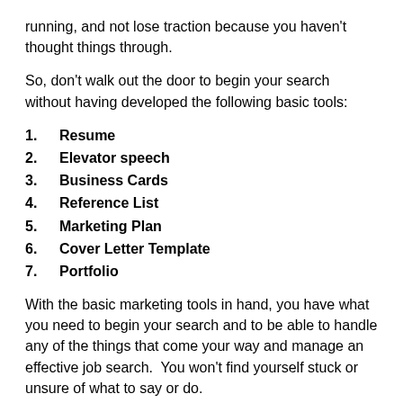running, and not lose traction because you haven't thought things through.
So, don't walk out the door to begin your search without having developed the following basic tools:
1. Resume
2. Elevator speech
3. Business Cards
4. Reference List
5. Marketing Plan
6. Cover Letter Template
7. Portfolio
With the basic marketing tools in hand, you have what you need to begin your search and to be able to handle any of the things that come your way and manage an effective job search.  You won't find yourself stuck or unsure of what to say or do.
As your search develops, you will develop additional tools:
8. Networking Plan